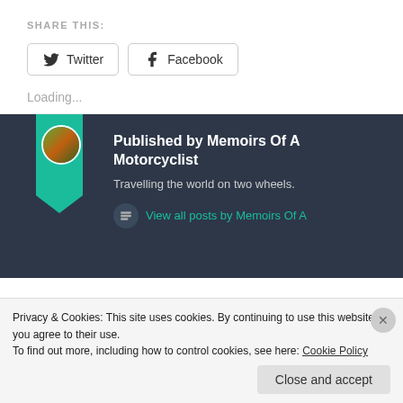SHARE THIS:
Twitter Facebook
Loading...
Published by Memoirs Of A Motorcyclist
Travelling the world on two wheels.
View all posts by Memoirs Of A
Privacy & Cookies: This site uses cookies. By continuing to use this website, you agree to their use.
To find out more, including how to control cookies, see here: Cookie Policy
Close and accept